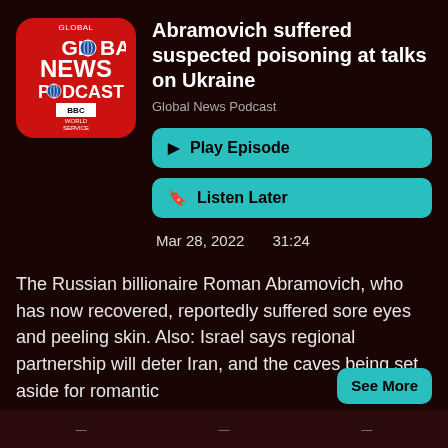[Figure (logo): Global News Podcast BBC World Service logo, red background with rounded corners]
Abramovich suffered suspected poisoning at talks on Ukraine
Global News Podcast
▶ Play Episode
🔖 Listen Later
Mar 28, 2022    31:24
The Russian billionaire Roman Abramovich, who has now recovered, reportedly suffered sore eyes and peeling skin. Also: Israel says regional partnership will deter Iran, and the caves being set aside for romantic
See More